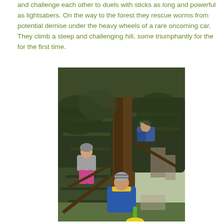and challenge each other to duels with sticks as long and powerful as lightsabers. On the way to the forest they rescue worms from potential demise under the heavy wheels of a rare oncoming car.   They climb a steep and challenging hill, some triumphantly for the for the first time.
[Figure (photo): Three children climbing a large conifer tree outdoors. Two children are visible higher up in the branches, one wearing pink trousers and a grey jacket, another in a blue and green jacket with a green cap. A third child stands at the base of the tree wearing a blue jacket and grey striped hat, holding a green and yellow toy or tool.]